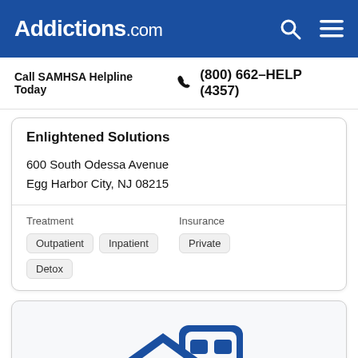Addictions.com
Call SAMHSA Helpline Today  (800) 662-HELP (4357)
Enlightened Solutions
600 South Odessa Avenue
Egg Harbor City, NJ 08215
Treatment
Outpatient  Inpatient  Detox
Insurance
Private
[Figure (illustration): Blue icon of a house and building/apartment complex representing a treatment facility]